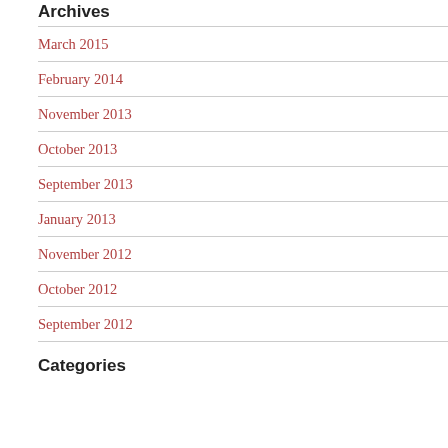Archives
March 2015
February 2014
November 2013
October 2013
September 2013
January 2013
November 2012
October 2012
September 2012
Categories